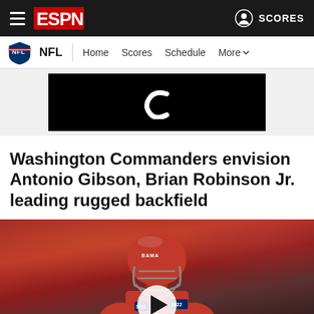ESPN — NFL | Home Scores Schedule More | SCORES
[Figure (screenshot): Black advertisement banner with a white letter C logo in the center]
Washington Commanders envision Antonio Gibson, Brian Robinson Jr. leading rugged backfield
[Figure (photo): Football player in Alabama Crimson Tide red helmet and uniform, number 4, with a play button overlay. Jersey shows SEC logo and 2022 patch. Background is blurred crowd in red.]